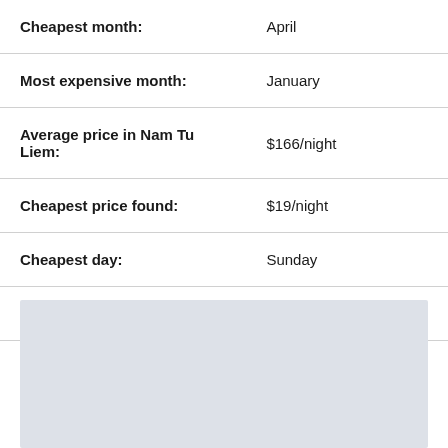| Label | Value |
| --- | --- |
| Cheapest month: | April |
| Most expensive month: | January |
| Average price in Nam Tu Liem: | $166/night |
| Cheapest price found: | $19/night |
| Cheapest day: | Sunday |
| Most expensive day: | Wednesday |
[Figure (other): Gray advertisement placeholder block]